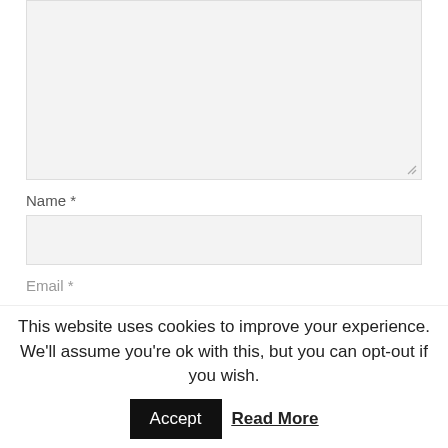[Figure (screenshot): A large textarea input box with light gray background and a resize handle at the bottom-right corner.]
Name *
[Figure (screenshot): A text input field for Name with light gray background.]
Email *
This website uses cookies to improve your experience. We'll assume you're ok with this, but you can opt-out if you wish. Accept Read More